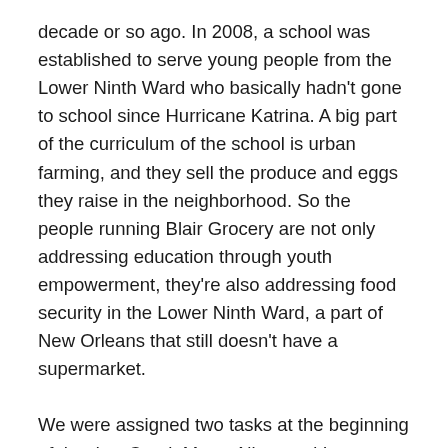decade or so ago. In 2008, a school was established to serve young people from the Lower Ninth Ward who basically hadn't gone to school since Hurricane Katrina. A big part of the curriculum of the school is urban farming, and they sell the produce and eggs they raise in the neighborhood. So the people running Blair Grocery are not only addressing education through youth empowerment, they're also addressing food security in the Lower Ninth Ward, a part of New Orleans that still doesn't have a supermarket.
We were assigned two tasks at the beginning of the day. Carol, Maya, Nina, and I went to work on their main compost windrow, which was ten feet high, twenty feet wide, and perhaps fifty feet long. It was spreading out too much so we put up a fence made of pallets to contain one of the long sides. Then we climbed up on top of the heap and began shoveling the pile down against the fence. Compost piles get pretty hot — this one was steaming — and the day was blazing hot, so we took it easy so we didn't get too